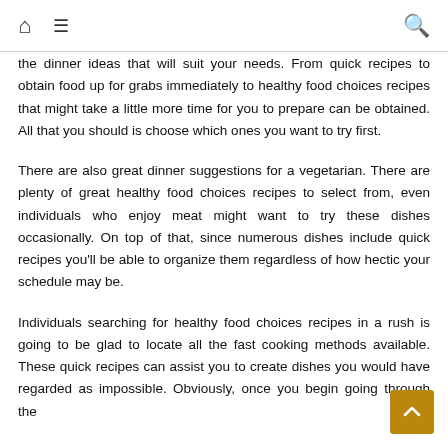🏠 ≡ 🔍
the dinner ideas that will suit your needs. From quick recipes to obtain food up for grabs immediately to healthy food choices recipes that might take a little more time for you to prepare can be obtained. All that you should is choose which ones you want to try first.
There are also great dinner suggestions for a vegetarian. There are plenty of great healthy food choices recipes to select from, even individuals who enjoy meat might want to try these dishes occasionally. On top of that, since numerous dishes include quick recipes you'll be able to organize them regardless of how hectic your schedule may be.
Individuals searching for healthy food choices recipes in a rush is going to be glad to locate all the fast cooking methods available. These quick recipes can assist you to create dishes you would have regarded as impossible. Obviously, once you begin going through the options you also want to find a way to get dinner ideas on the quick, since